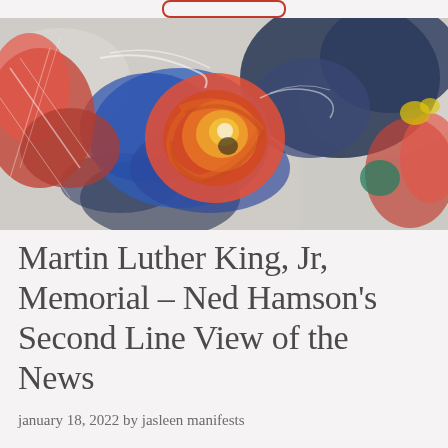[Figure (illustration): Abstract expressionist painting with swirling red, blue, orange, yellow, and white paint strokes. A circular swirl of warm red, orange, and yellow tones dominates the center, surrounded by bold blue and dark navy strokes, with red paint strokes on the left and lighter strokes on the right.]
Martin Luther King, Jr, Memorial - Ned Hamson's Second Line View of the News
january 18, 2022 by jasleen manifests